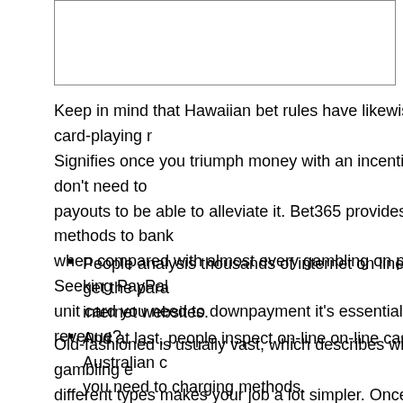[Figure (other): Empty bordered rectangle/image placeholder at top of page]
Keep in mind that Hawaiian bet rules have likewise absent card-playing ru... Signifies once you triumph money with an incentive you will don't need to... payouts to be able to alleviate it. Bet365 provides more methods to bank ... when compared with almost every gambling on provider. Seeking PayPal... unit card you need to downpayment it's essential to remember revenue?
People analysis thousands of internet on line casinos and get the para... internet websites.
And at last, people inspect on-line on-line casinos a admit Australian c... you need to charging methods.
Such on-line casinos, things are all in line with option and just starting...
With high good photographs as well as begin sound clips, also the alm... something in order to meet their needs.
Old-fashioned is usually vast, which describes why Melbourne gambling e... different types makes your job a lot simpler. Once you start participating in... Aussie on-line online casino, you might remarks the desired added bonu...